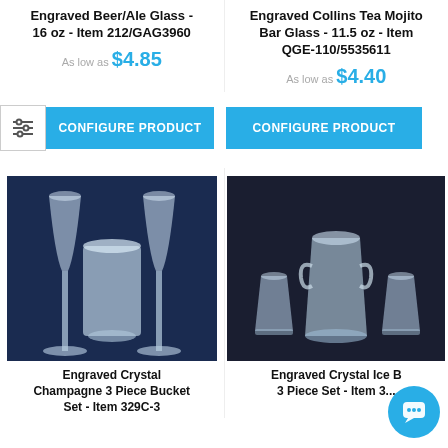Engraved Beer/Ale Glass - 16 oz - Item 212/GAG3960
As low as $4.85
CONFIGURE PRODUCT
Engraved Collins Tea Mojito Bar Glass - 11.5 oz - Item QGE-110/5535611
As low as $4.40
CONFIGURE PRODUCT
[Figure (photo): Two engraved crystal champagne flute glasses flanking a bucket glass on dark blue background]
Engraved Crystal Champagne 3 Piece Bucket Set - Item 329C-3
[Figure (photo): Engraved crystal ice bucket with two short whiskey glasses, dark background]
Engraved Crystal Ice B... 3 Piece Set - Item 3...